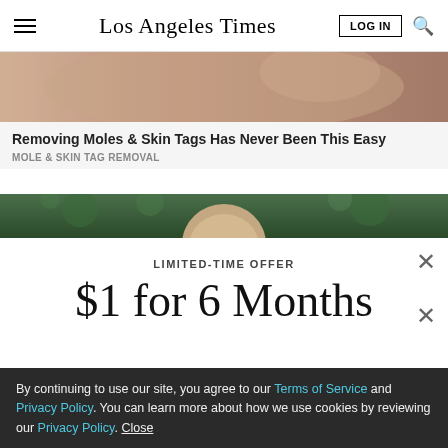Los Angeles Times
[Figure (photo): Close-up photo of a woman's face and hand, skin tones visible, partial view]
Removing Moles & Skin Tags Has Never Been This Easy
MOLE & SKIN TAG REMOVAL
[Figure (photo): Partial photo showing a person outdoors with green foliage background]
LIMITED-TIME OFFER
$1 for 6 Months
SUBSCRIBE NOW
By continuing to use our site, you agree to our Terms of Service and Privacy Policy. You can learn more about how we use cookies by reviewing our Privacy Policy. Close